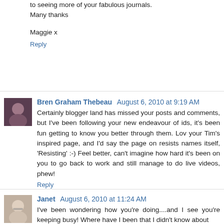to seeing more of your fabulous journals.
Many thanks
Maggie x
Reply
Bren Graham Thebeau  August 6, 2010 at 9:19 AM
Certainly blogger land has missed your posts and comments, but I've been following your new endeavour of ids, it's been fun getting to know you better through them. Lov your Tim's inspired page, and I'd say the page on resists names itself, 'Resisting' :-) Feel better, can't imagine how hard it's been on you to go back to work and still manage to do live videos, phew!
Reply
Janet  August 6, 2010 at 11:24 AM
I've been wondering how you're doing....and I see you're keeping busy! Where have I been that I didn't know about